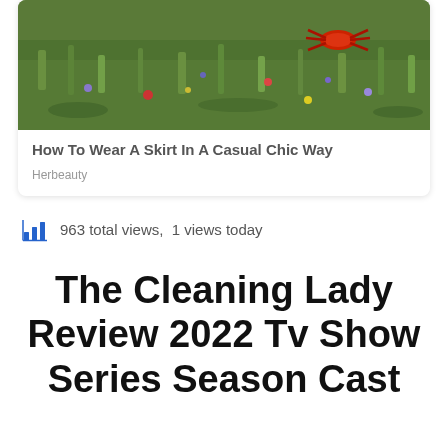[Figure (photo): Outdoor grassy scene with colorful wildflowers and what appears to be a red crab or insect on the grass]
How To Wear A Skirt In A Casual Chic Way
Herbeauty
963 total views,  1 views today
The Cleaning Lady Review 2022 Tv Show Series Season Cast